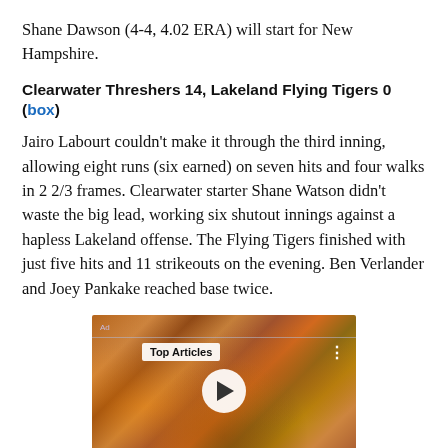Shane Dawson (4-4, 4.02 ERA) will start for New Hampshire.
Clearwater Threshers 14, Lakeland Flying Tigers 0 (box)
Jairo Labourt couldn’t make it through the third inning, allowing eight runs (six earned) on seven hits and four walks in 2 2/3 frames. Clearwater starter Shane Watson didn’t waste the big lead, working six shutout innings against a hapless Lakeland offense. The Flying Tigers finished with just five hits and 11 strikeouts on the evening. Ben Verlander and Joey Pankake reached base twice.
[Figure (screenshot): Video player thumbnail showing a crowd of people in orange and brown colors, with a 'Top Articles' label overlay, a white circular play button in the center, and a three-dots menu icon in the top right.]